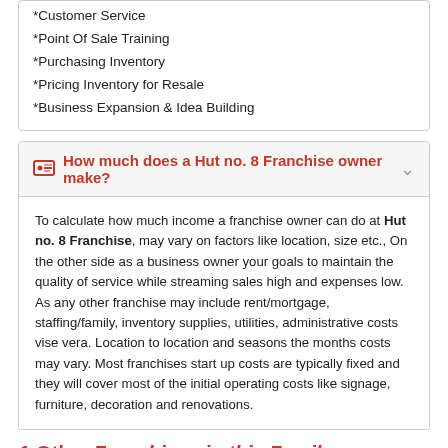*Customer Service
*Point Of Sale Training
*Purchasing Inventory
*Pricing Inventory for Resale
*Business Expansion & Idea Building
How much does a Hut no. 8 Franchise owner make?
To calculate how much income a franchise owner can do at Hut no. 8 Franchise, may vary on factors like location, size etc., On the other side as a business owner your goals to maintain the quality of service while streaming sales high and expenses low. As any other franchise may include rent/mortgage, staffing/family, inventory supplies, utilities, administrative costs vise vera. Location to location and seasons the months costs may vary. Most franchises start up costs are typically fixed and they will cover most of the initial operating costs like signage, furniture, decoration and renovations.
1 Other Franchises in this Family
Goin' Postal